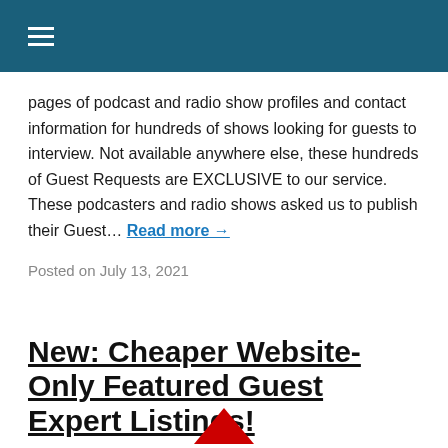☰
pages of podcast and radio show profiles and contact information for hundreds of shows looking for guests to interview. Not available anywhere else, these hundreds of Guest Requests are EXCLUSIVE to our service. These podcasters and radio shows asked us to publish their Guest… Read more →
Posted on July 13, 2021
New: Cheaper Website-Only Featured Guest Expert Listings!